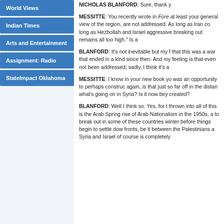World Views
Indian Times
Arts and Entertainment
Assignment: Radio
StateImpact Oklahoma
NICHOLAS BLANFORD: Sure, thank y
MESSITTE: You recently wrote in Fore at least your general view of the region, are not addressed. As long as Iran co long as Hezbollah and Israel aggressive breaking out remains all too high.”  Is a
BLANFORD: It’s not inevitable but my f that this was a war that ended in a kind since then. And my feeling is that even not been addressed; sadly, I think it’s a
MESSITTE: I know in your new book y was an opportunity to perhaps construc again, is that just so far off in the distan what’s going on in Syria? Is it now bey created?
BLANFORD: Well I think so. Yes, for t thrown into all of this is the Arab Spring rise of Arab Nationalism in the 1950s, a to break out in some of these countries winter before things begin to settle dow fronts, be it between the Palestinians a Syria and Israel of course is completely